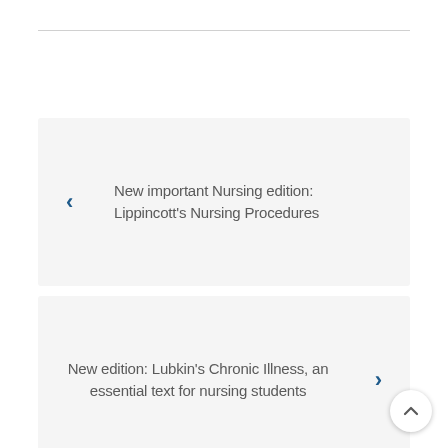New important Nursing edition: Lippincott's Nursing Procedures
New edition: Lubkin's Chronic Illness, an essential text for nursing students